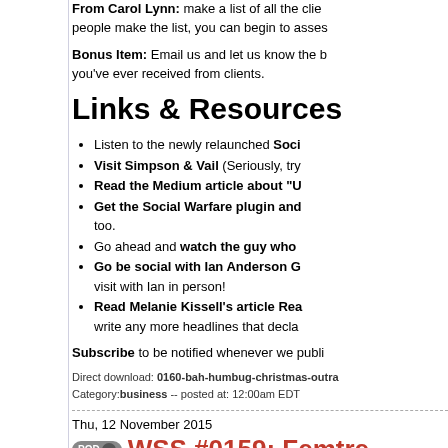From Carol Lynn: make a list of all the clients... people make the list, you can begin to assess...
Bonus Item: Email us and let us know the b... you've ever received from clients.
Links & Resources
Listen to the newly relaunched Soci...
Visit Simpson & Vail (Seriously, try...
Read the Medium article about "U...
Get the Social Warfare plugin and... too.
Go ahead and watch the guy who...
Go be social with Ian Anderson G... visit with Ian in person!
Read Melanie Kissell's article Rea... write any more headlines that decla...
Subscribe to be notified whenever we publi...
Direct download: 0160-bah-humbug-christmas-outra...
Category: business -- posted at: 12:00am EDT
Thu, 12 November 2015
WSS #0159: Femtre... Women And Self-Int...
Let's Get This Controversy...
Today's guest reached out to me a few weel... browsing through some of her content I cam... Femtrepreneurshit that caught my attention...